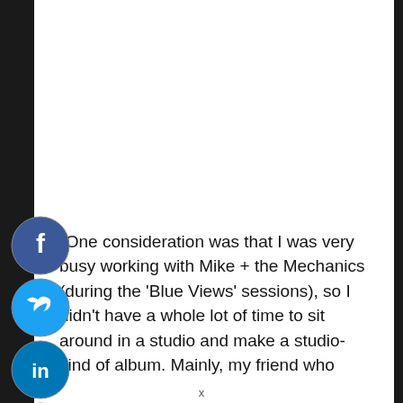where we would set up in a room and just play.
[Figure (infographic): Social media sharing buttons sidebar: Facebook (blue circle with f), Twitter (blue circle with bird), LinkedIn (blue circle with in), Reddit (orange circle with alien), Email (dark grey circle with envelope)]
“One consideration was that I was very busy working with Mike + the Mechanics (during the ‘Blue Views’ sessions), so I didn’t have a whole lot of time to sit around in a studio and make a studio-kind of album. Mainly, my friend who
x